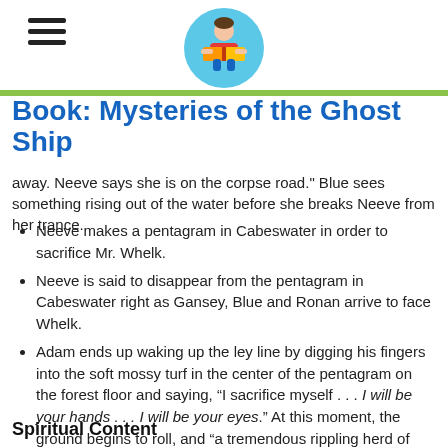Book: Mysteries of the Ghost Ship
away. Neeve says she is on the corpse road. Blue sees something rising out of the water before she breaks Neeve from her trance.
Neeve makes a pentagram in Cabeswater in order to sacrifice Mr. Whelk.
Neeve is said to disappear from the pentagram in Cabeswater right as Gansey, Blue and Ronan arrive to face Whelk.
Adam ends up waking up the ley line by digging his fingers into the soft mossy turf in the center of the pentagram on the forest floor and saying, “I sacrifice myself . . . I will be your hands . . . I will be your eyes.” At this moment, the ground begins to roll, and “a tremendous rippling herd of white-horned beasts” erupts from the forest.
Spiritual Content